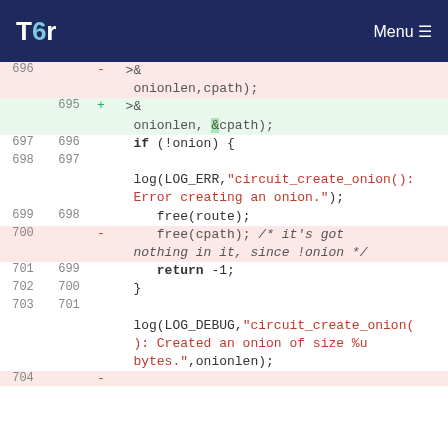Tor — Menu
[Figure (screenshot): Code diff view showing changes to router_create_onion function call, with removed lines in red/pink and added lines in green, plus surrounding context lines.]